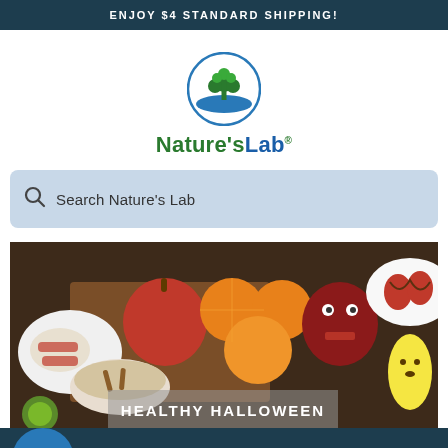ENJOY $4 STANDARD SHIPPING!
[Figure (logo): Nature's Lab logo: circular emblem with green tree and blue water, with text Nature's Lab below]
Search Nature's Lab
[Figure (photo): Healthy Halloween themed food photo: oranges, apples, strawberries with halloween decorations on a wooden board, with overlay text HEALTHY HALLOWEEN]
MENU